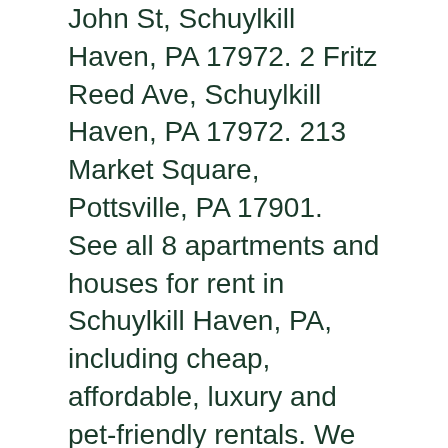John St, Schuylkill Haven, PA 17972. 2 Fritz Reed Ave, Schuylkill Haven, PA 17972. 213 Market Square, Pottsville, PA 17901. See all 8 apartments and houses for rent in Schuylkill Haven, PA, including cheap, affordable, luxury and pet-friendly rentals. We had some problems performing your search. Browse photos and maps and search by location, price, and amenities. More filters. pennsylvania choose the site nearest you: altoona-johnstown; cumberland valley We found 8 Apartments for rent in Schuylkill Haven, PA. ForRent.com provides you with the most comprehensive list of rentals so you can find your perfect home. Once you favorite a listing you can filter the map to show only your favorites. See all 35 apartments and houses for rent in Schuylkill County, PA, including cheap, affordable, luxury and pet-friendly rentals. You can trust Apartments.com to find your next Schuylkill Haven rental. Add Apartments. Craigslist - Apartments for Rent in Frackville, PA: Looking for renter Bloomsburg PA in Bloomsburg, 1 Bedroom